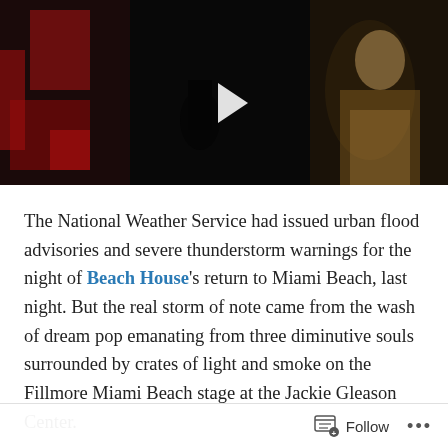[Figure (photo): Dark video thumbnail showing a concert scene with reddish lighting on the left and a figure on the right; a white play button triangle is centered on the image.]
The National Weather Service had issued urban flood advisories and severe thunderstorm warnings for the night of Beach House's return to Miami Beach, last night. But the real storm of note came from the wash of dream pop emanating from three diminutive souls surrounded by crates of light and smoke on the Fillmore Miami Beach stage at the Jackie Gleason Center.
At first entry through the doors, it seemed– as usual– the